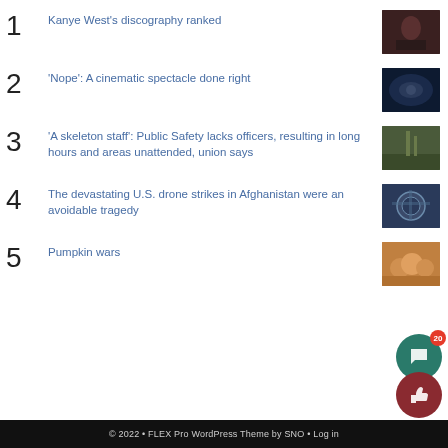1 Kanye West's discography ranked
2 'Nope': A cinematic spectacle done right
3 'A skeleton staff': Public Safety lacks officers, resulting in long hours and areas unattended, union says
4 The devastating U.S. drone strikes in Afghanistan were an avoidable tragedy
5 Pumpkin wars
© 2022 • FLEX Pro WordPress Theme by SNO • Log in